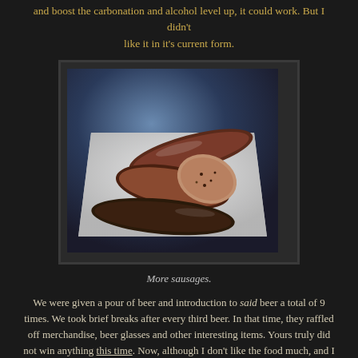and boost the carbonation and alcohol level up, it could work.  But I didn't like it in it's current form.
[Figure (photo): Photo of sausages on a white paper tray/boat, showing sliced and whole sausages with visible spices and meat texture, against a blue-toned background]
More sausages.
We were given a pour of beer and introduction to said beer a total of 9 times.  We took brief breaks after every third beer.  In that time, they raffled off merchandise, beer glasses and other interesting items.  Yours truly did not win anything this time.  Now, although I don't like the food much, and I don't like some of the bartenders for their unprofessional service or lack of